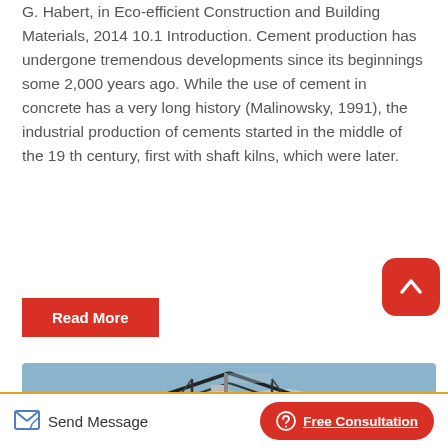G. Habert, in Eco-efficient Construction and Building Materials, 2014 10.1 Introduction. Cement production has undergone tremendous developments since its beginnings some 2,000 years ago. While the use of cement in concrete has a very long history (Malinowsky, 1991), the industrial production of cements started in the middle of the 19 th century, first with shaft kilns, which were later.
[Figure (other): Red 'Read More' button]
[Figure (other): Red rounded square scroll-to-top button with upward arrow icon]
[Figure (photo): Industrial shed/greenhouse structure with metal roof trusses, ventilation chimneys/stacks, and blue sky background]
Send Message   Free Consultation